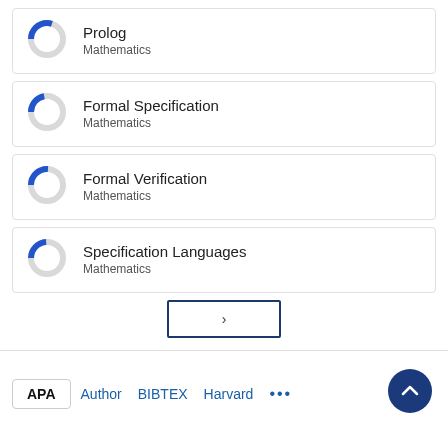[Figure (donut-chart): Donut chart showing partial blue fill for Prolog topic under Mathematics]
Prolog
Mathematics
[Figure (donut-chart): Donut chart showing partial blue fill for Formal Specification topic under Mathematics]
Formal Specification
Mathematics
[Figure (donut-chart): Donut chart showing partial blue fill for Formal Verification topic under Mathematics]
Formal Verification
Mathematics
[Figure (donut-chart): Donut chart showing partial blue fill for Specification Languages topic under Mathematics]
Specification Languages
Mathematics
>
APA   Author   BIBTEX   Harvard   ...